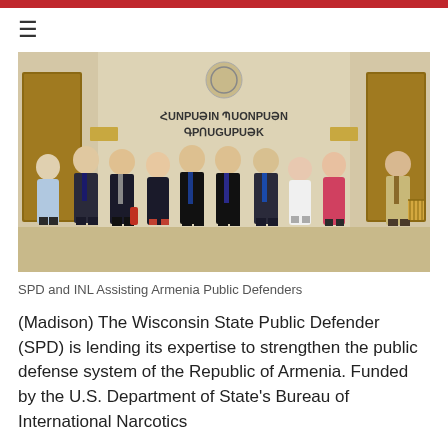≡
[Figure (photo): Group photo of approximately 10 people standing in a row inside a building with Armenian text on the wall behind them. The sign reads 'ՀՈՒՆԱՁIN ՊԱSTELLPANE ԳՐPARTE'N'. People are dressed in business and business-casual attire.]
SPD and INL Assisting Armenia Public Defenders
(Madison) The Wisconsin State Public Defender (SPD) is lending its expertise to strengthen the public defense system of the Republic of Armenia.  Funded by the U.S. Department of State's Bureau of International Narcotics